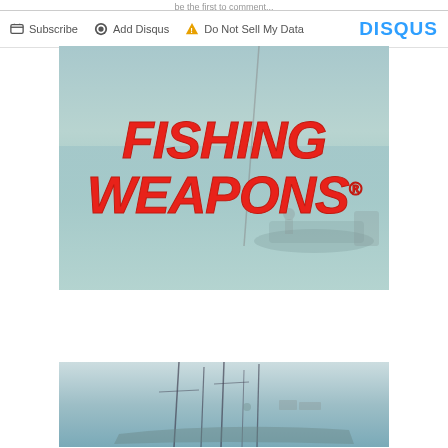be the first to comment...
[Figure (screenshot): Disqus comment toolbar with Subscribe, Add Disqus, Do Not Sell My Data buttons and DISQUS logo]
[Figure (photo): Fishing Weapons advertisement showing red bold text 'FISHING WEAPONS' over a beach/ocean background with boat silhouette]
[Figure (photo): Partial advertisement showing fishing boat/yacht masts against light blue background]